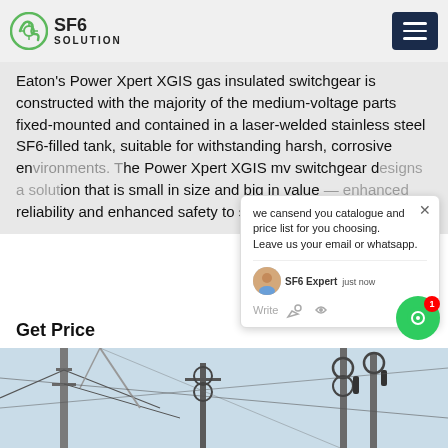SF6 SOLUTION
Eaton's Power Xpert XGIS gas insulated switchgear is constructed with the majority of the medium-voltage parts fixed-mounted and contained in a laser-welded stainless steel SF6-filled tank, suitable for withstanding harsh, corrosive environments. The Power Xpert XGIS mv switchgear delivers a solution that is small in size and big in value — enhanced reliability and enhanced safety to su...
Get Price
[Figure (photo): Electrical substation with tall transmission line towers and high-voltage insulators against a clear sky, viewed from below.]
we cansend you catalogue and price list for you choosing. Leave us your email or whatsapp.